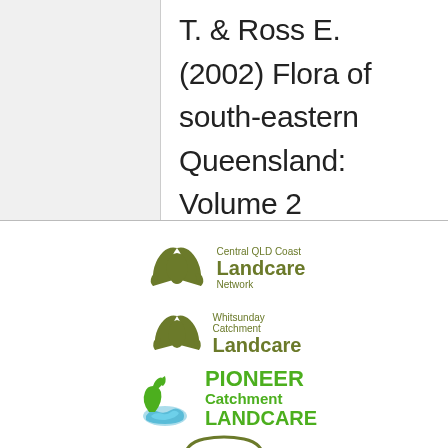T. & Ross E. (2002) Flora of south-eastern Queensland: Volume 2
[Figure (logo): Central QLD Coast Landcare Network logo — two hands cupping Australia shape in olive green, with text 'Central QLD Coast Landcare Network']
[Figure (logo): Whitsunday Catchment Landcare logo — two hands cupping Australia shape in olive green, with text 'Whitsunday Catchment Landcare']
[Figure (logo): Pioneer Catchment Landcare logo — green plant and river/water graphic with bold green text 'PIONEER Catchment LANDCARE']
[Figure (logo): Partial logo at bottom — appears to be ABLN or similar organisation, partially visible]